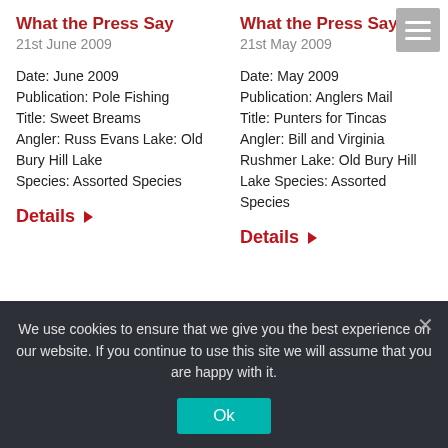What the Press Say
21st June 2009
Date: June 2009 Publication: Pole Fishing Title: Sweet Breams Angler: Russ Evans Lake: Old Bury Hill Lake Species: Assorted Species
Details ▶
What the Press Say
21st May 2009
Date: May 2009 Publication: Anglers Mail Title: Punters for Tincas Angler: Bill and Virginia Rushmer Lake: Old Bury Hill Lake Species: Assorted Species
Details ▶
We use cookies to ensure that we give you the best experience on our website. If you continue to use this site we will assume that you are happy with it.
Ok